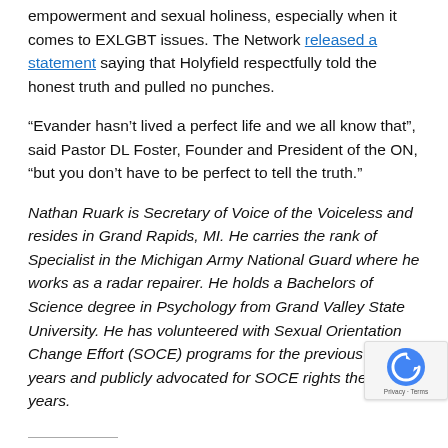empowerment and sexual holiness, especially when it comes to EXLGBT issues. The Network released a statement saying that Holyfield respectfully told the honest truth and pulled no punches.
“Evander hasn’t lived a perfect life and we all know that”, said Pastor DL Foster, Founder and President of the ON, “but you don’t have to be perfect to tell the truth.”
Nathan Ruark is Secretary of Voice of the Voiceless and resides in Grand Rapids, MI. He carries the rank of Specialist in the Michigan Army National Guard where he works as a radar repairer. He holds a Bachelors of Science degree in Psychology from Grand Valley State University. He has volunteered with Sexual Orientation Change Effort (SOCE) programs for the previous 10 years and publicly advocated for SOCE rights the past 4 years.